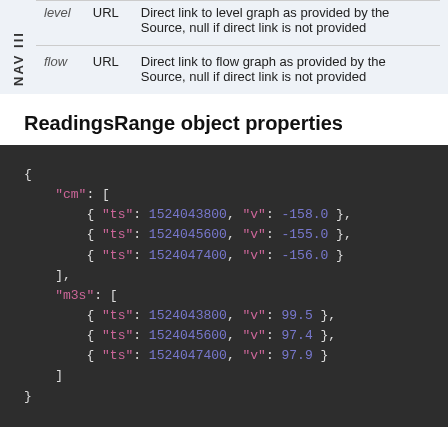| Property | Type | Description |
| --- | --- | --- |
| level | URL | Direct link to level graph as provided by the Source, null if direct link is not provided |
| flow | URL | Direct link to flow graph as provided by the Source, null if direct link is not provided |
ReadingsRange object properties
{
  "cm": [
    { "ts": 1524043800, "v": -158.0 },
    { "ts": 1524045600, "v": -155.0 },
    { "ts": 1524047400, "v": -156.0 }
  ],
  "m3s": [
    { "ts": 1524043800, "v": 99.5 },
    { "ts": 1524045600, "v": 97.4 },
    { "ts": 1524047400, "v": 97.9 }
  ]
}